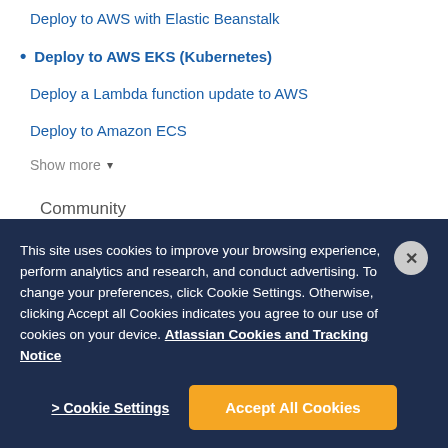Deploy to AWS with Elastic Beanstalk
Deploy to AWS EKS (Kubernetes)
Deploy a Lambda function update to AWS
Deploy to Amazon ECS
Show more ▾
Community
This site uses cookies to improve your browsing experience, perform analytics and research, and conduct advertising. To change your preferences, click Cookie Settings. Otherwise, clicking Accept all Cookies indicates you agree to our use of cookies on your device. Atlassian Cookies and Tracking Notice
> Cookie Settings
Accept All Cookies